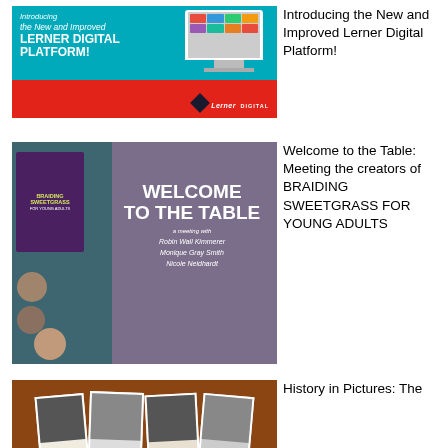[Figure (illustration): Lerner Digital Platform promotional banner with teal/red background and computer monitor showing book thumbnails]
Introducing the New and Improved Lerner Digital Platform!
[Figure (illustration): Welcome to the Table event banner featuring Braiding Sweetgrass for Young Adults book cover and names of Robin Wall Kimmerer, Monique Gray Smith, Nicole Neidhardt]
Welcome to the Table: Meeting the creators of BRAIDING SWEETGRASS FOR YOUNG ADULTS
[Figure (photo): Black and white vintage photographs fanned out on a brown/rust background]
History in Pictures: The